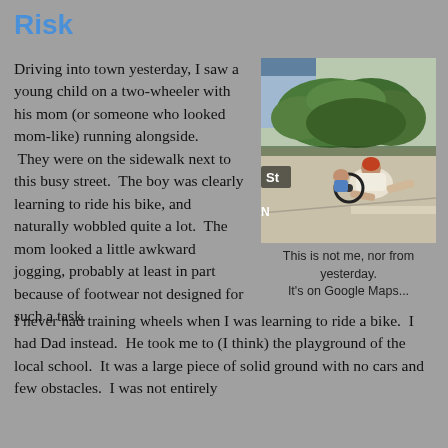Risk
Driving into town yesterday, I saw a young child on a two-wheeler with his mom (or someone who looked mom-like) running alongside.  They were on the sidewalk next to this busy street.  The boy was clearly learning to ride his bike, and naturally wobbled quite a lot.  The mom looked a little awkward jogging, probably at least in part because of footwear not designed for such a task.
[Figure (photo): Google Maps street view image of a child fallen off a bicycle on a sidewalk with an adult nearby, outdoors near a house with bushes. Overlay text shows 'St' and 'N' labels.]
This is not me, nor from yesterday. It's on Google Maps...
I never had training wheels when I was learning to ride a bike.  I had Dad instead.  He took me to (I think) the playground of the local school.  It was a large piece of solid ground with no cars and few obstacles.  I was not entirely